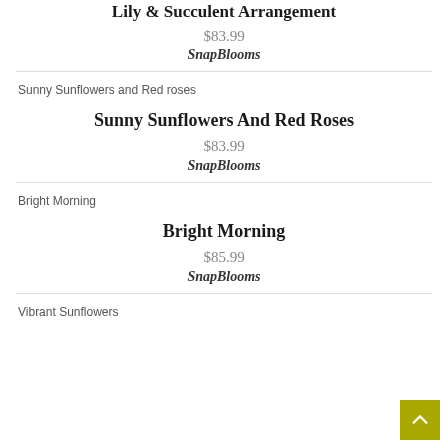Lily & Succulent Arrangement
$83.99
SnapBlooms
[Figure (photo): Broken image placeholder for Sunny Sunflowers and Red roses]
Sunny Sunflowers And Red Roses
$83.99
SnapBlooms
[Figure (photo): Broken image placeholder for Bright Morning]
Bright Morning
$85.99
SnapBlooms
[Figure (photo): Broken image placeholder for Vibrant Sunflowers]